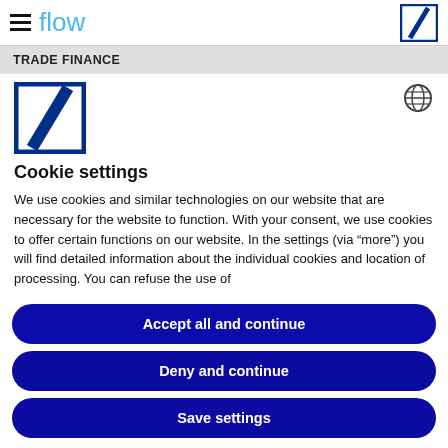flow
TRADE FINANCE
[Figure (logo): Deutsche Bank logo - blue square with white diagonal slash]
Cookie settings
We use cookies and similar technologies on our website that are necessary for the website to function. With your consent, we use cookies to offer certain functions on our website. In the settings (via “more”) you will find detailed information about the individual cookies and location of processing. You can refuse the use of
Accept all and continue
Deny and continue
Save settings